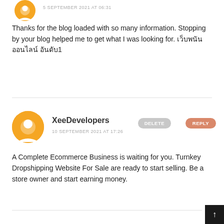5 SEPTEMBER 2021 AT 06:31
Thanks for the blog loaded with so many information. Stopping by your blog helped me to get what I was looking for. เว็บพนันออนไลน์ อันดับ1
XeeDevelopers
10 SEPTEMBER 2021 AT 17:26
A Complete Ecommerce Business is waiting for you. Turnkey Dropshipping Website For Sale are ready to start selling. Be a store owner and start earning money.